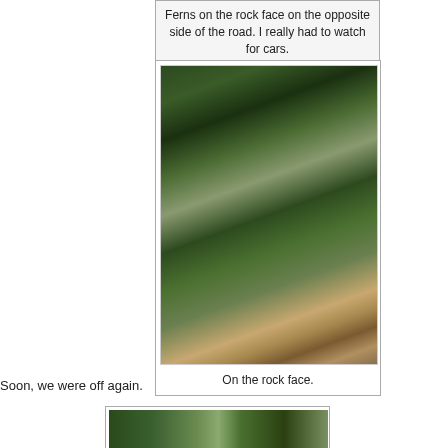Ferns on the rock face on the opposite side of the road. I really had to watch for cars.
[Figure (photo): Close-up photo of ferns and vegetation growing on a rock face, with visible rocky surface on the right side.]
On the rock face.
Soon, we were off again.
[Figure (photo): Partial view of another outdoor scene with green vegetation.]